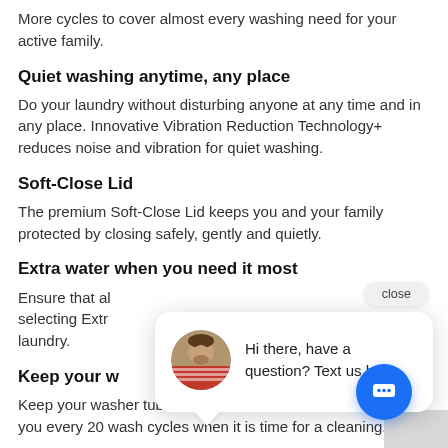More cycles to cover almost every washing need for your active family.
Quiet washing anytime, any place
Do your laundry without disturbing anyone at any time and in any place. Innovative Vibration Reduction Technology+ reduces noise and vibration for quiet washing.
Soft-Close Lid
The premium Soft-Close Lid keeps you and your family protected by closing safely, gently and quietly.
Extra water when you need it most
Ensure that al… selecting Extr… laundry.
Keep your w…
Keep your washer tub fresh and clean. Self Clean will notify you every 20 wash cycles when it is time for a cleaning.
Easy to troubleshoot
[Figure (screenshot): Live chat widget overlay with close button, avatar of a person wearing a striped shirt, and message: Hi there, have a question? Text us here. Blue circular chat FAB button at bottom right.]